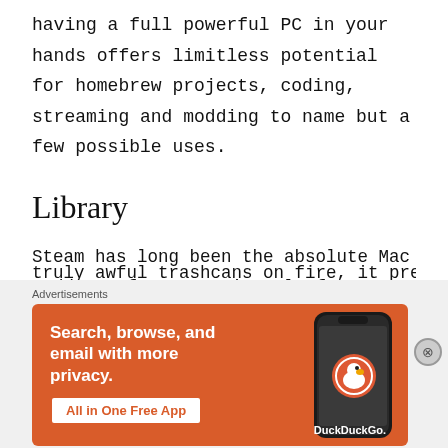having a full powerful PC in your hands offers limitless potential for homebrew projects, coding, streaming and modding to name but a few possible uses.
Library
Steam has long been the absolute Mac Daddy as far as gaming platforms go. Over 10,000 games were released on the platform last year alone. Ranging from truly inspiring pieces of art and truly awful trashcans on fire, it pretty much has
Advertisements
[Figure (infographic): DuckDuckGo advertisement banner with orange background. Text reads: Search, browse, and email with more privacy. All in One Free App. Shows a phone with the DuckDuckGo logo.]